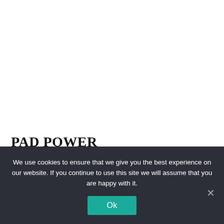PAD POWER
We use cookies to ensure that we give you the best experience on our website. If you continue to use this site we will assume that you are happy with it.